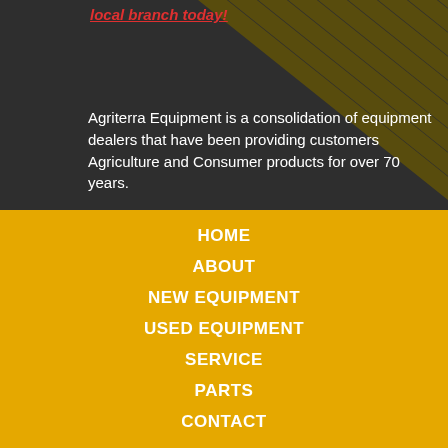local branch today!
Agriterra Equipment is a consolidation of equipment dealers that have been providing customers Agriculture and Consumer products for over 70 years.
HOME
ABOUT
NEW EQUIPMENT
USED EQUIPMENT
SERVICE
PARTS
CONTACT